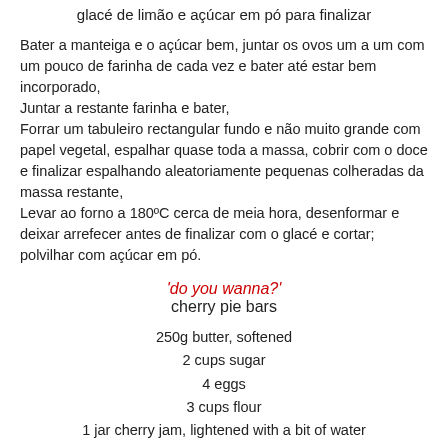glacé de limão e açúcar em pó para finalizar
Bater a manteiga e o açúcar bem, juntar os ovos um a um com um pouco de farinha de cada vez e bater até estar bem incorporado,
Juntar a restante farinha e bater,
Forrar um tabuleiro rectangular fundo e não muito grande com papel vegetal, espalhar quase toda a massa, cobrir com o doce e finalizar espalhando aleatoriamente pequenas colheradas da massa restante,
Levar ao forno a 180ºC cerca de meia hora, desenformar e deixar arrefecer antes de finalizar com o glacé e cortar; polvilhar com açúcar em pó.
'do you wanna?' cherry pie bars
250g butter, softened
2 cups sugar
4 eggs
3 cups flour
1 jar cherry jam, lightened with a bit of water